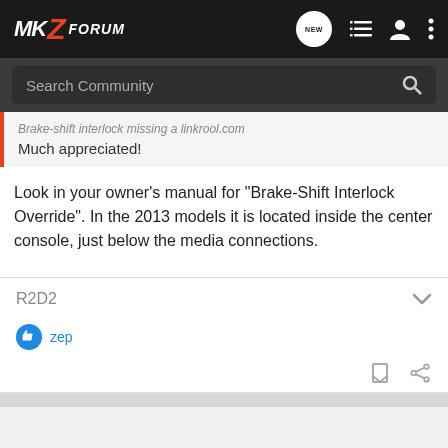MKZ FORUM
Search Community
Much appreciated!
Look in your owner's manual for "Brake-Shift Interlock Override". In the 2013 models it is located inside the center console, just below the media connections.
R2D2
zep